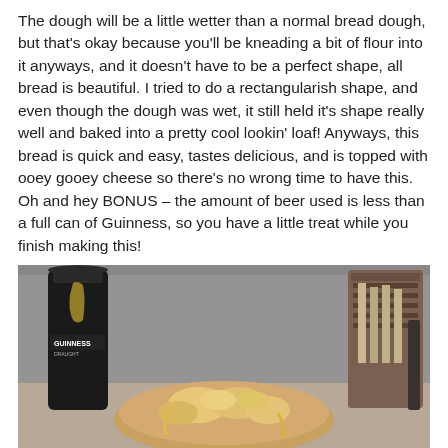The dough will be a little wetter than a normal bread dough, but that's okay because you'll be kneading a bit of flour into it anyways, and it doesn't have to be a perfect shape, all bread is beautiful. I tried to do a rectangularish shape, and even though the dough was wet, it still held it's shape really well and baked into a pretty cool lookin' loaf! Anyways, this bread is quick and easy, tastes delicious, and is topped with ooey gooey cheese so there's no wrong time to have this. Oh and hey BONUS – the amount of beer used is less than a full can of Guinness, so you have a little treat while you finish making this!
[Figure (photo): Photo showing a loaf of cheesy beer bread on a counter, with a Guinness can in the background and a container on the right side.]